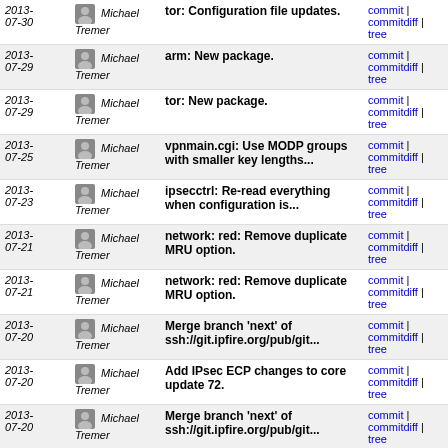| Date | Author | Message | Links |
| --- | --- | --- | --- |
| 2013-07-30 | Michael Tremer | tor: Configuration file updates. | commit | commitdiff | tree |
| 2013-07-29 | Michael Tremer | arm: New package. | commit | commitdiff | tree |
| 2013-07-29 | Michael Tremer | tor: New package. | commit | commitdiff | tree |
| 2013-07-25 | Michael Tremer | vpnmain.cgi: Use MODP groups with smaller key lengths... | commit | commitdiff | tree |
| 2013-07-23 | Michael Tremer | ipsecctrl: Re-read everything when configuration is... | commit | commitdiff | tree |
| 2013-07-21 | Michael Tremer | network: red: Remove duplicate MRU option. | commit | commitdiff | tree |
| 2013-07-21 | Michael Tremer | network: red: Remove duplicate MRU option. | commit | commitdiff | tree |
| 2013-07-20 | Michael Tremer | Merge branch 'next' of ssh://git.ipfire.org/pub/git... | commit | commitdiff | tree |
| 2013-07-20 | Michael Tremer | Add IPsec ECP changes to core update 72. | commit | commitdiff | tree |
| 2013-07-20 | Michael Tremer | Merge branch 'next' of ssh://git.ipfire.org/pub/git... | commit | commitdiff | tree |
| 2013-07-20 | Michael Tremer | ipsec: Add ECP cryptography. | commit | commitdiff | tree |
next
Timo's tree of IPFire 2.x   Atom  RSS